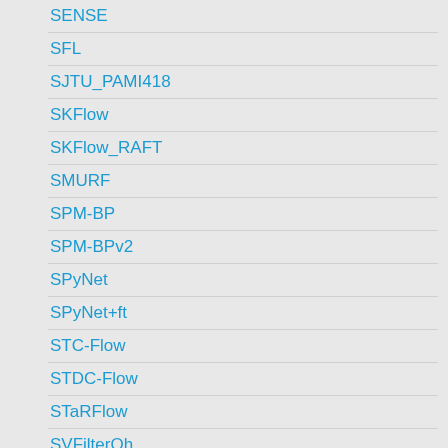SENSE
SFL
SJTU_PAMI418
SKFlow
SKFlow_RAFT
SMURF
SPM-BP
SPM-BPv2
SPyNet
SPyNet+ft
STC-Flow
STDC-Flow
STaRFlow
SVFilterOh
ScopeFlow
SegFlow-CNN
SegFlow113
SegFlow153
SegFlow193